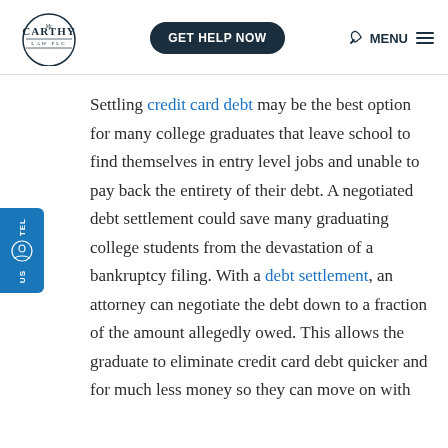McCarthy Law PLC — GET HELP NOW — MENU
Settling credit card debt may be the best option for many college graduates that leave school to find themselves in entry level jobs and unable to pay back the entirety of their debt. A negotiated debt settlement could save many graduating college students from the devastation of a bankruptcy filing. With a debt settlement, an attorney can negotiate the debt down to a fraction of the amount allegedly owed. This allows the graduate to eliminate credit card debt quicker and for much less money so they can move on with